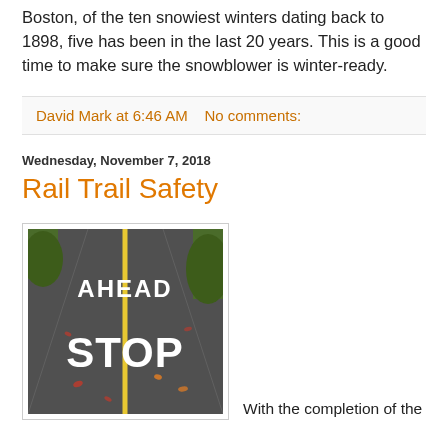Boston, of the ten snowiest winters dating back to 1898, five has been in the last 20 years. This is a good time to make sure the snowblower is winter-ready.
David Mark at 6:46 AM   No comments:
Wednesday, November 7, 2018
Rail Trail Safety
[Figure (photo): A paved rail trail surface with white painted text reading 'AHEAD' and 'STOP' with a yellow center line, autumn leaves scattered on the pavement, green grass visible on the right edge.]
With the completion of the